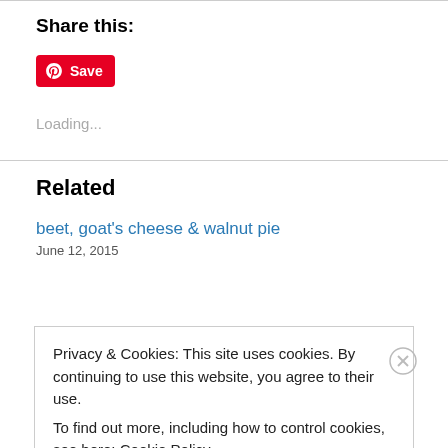Share this:
[Figure (logo): Pinterest Save button — red rounded rectangle with white Pinterest P icon and white text 'Save']
Loading...
Related
beet, goat's cheese & walnut pie
June 12, 2015
Privacy & Cookies: This site uses cookies. By continuing to use this website, you agree to their use.
To find out more, including how to control cookies, see here: Cookie Policy
Close and accept